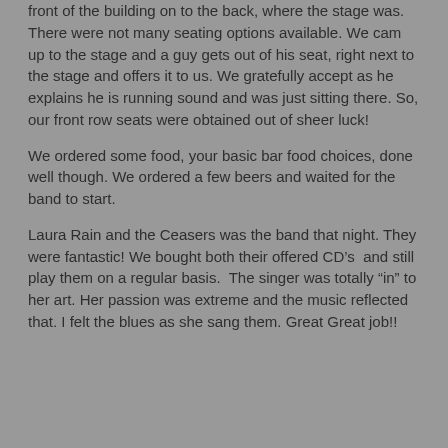front of the building on to the back, where the stage was. There were not many seating options available. We cam up to the stage and a guy gets out of his seat, right next to the stage and offers it to us. We gratefully accept as he explains he is running sound and was just sitting there. So, our front row seats were obtained out of sheer luck!
We ordered some food, your basic bar food choices, done well though. We ordered a few beers and waited for the band to start.
Laura Rain and the Ceasers was the band that night. They were fantastic! We bought both their offered CD’s  and still play them on a regular basis.  The singer was totally “in” to her art. Her passion was extreme and the music reflected that. I felt the blues as she sang them. Great Great job!!